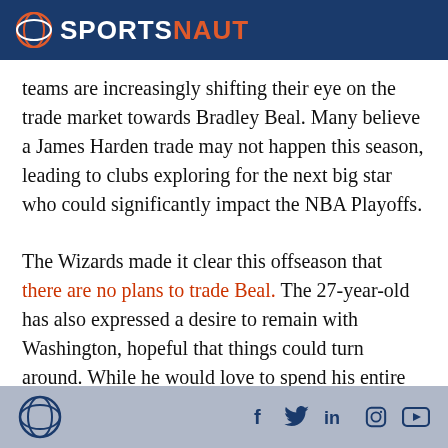SPORTSNAUT
teams are increasingly shifting their eye on the trade market towards Bradley Beal. Many believe a James Harden trade may not happen this season, leading to clubs exploring for the next big star who could significantly impact the NBA Playoffs.
The Wizards made it clear this offseason that there are no plans to trade Beal. The 27-year-old has also expressed a desire to remain with Washington, hopeful that things could turn around. While he would love to spend his entire career with the
Sportsnaut footer with social icons: Facebook, Twitter, LinkedIn, Instagram, YouTube